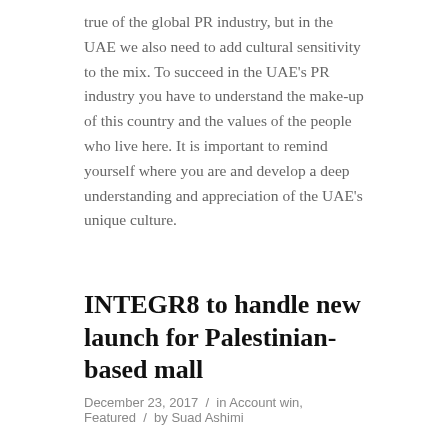true of the global PR industry, but in the UAE we also need to add cultural sensitivity to the mix. To succeed in the UAE's PR industry you have to understand the make-up of this country and the values of the people who live here. It is important to remind yourself where you are and develop a deep understanding and appreciation of the UAE's unique culture.
INTEGR8 to handle new launch for Palestinian-based mall
December 23, 2017  /  in Account win, Featured  /  by Suad Ashimi
Dubai-based creative communications agency, INTEGR8 has been appointed to represent LACASA Holdings for the launch of Mall of Palestine. Set to launch in Ramallah, Palestine in 2019, the new shopping destination will feature over 200 retail, F&B and entertainment units. INTEGR8 will handle all the branding, social media and communications activities to create awareness for the mall leading to its launch, in addition to the